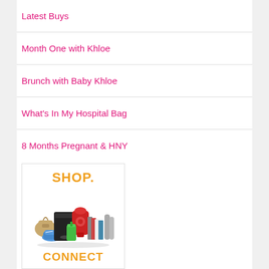Latest Buys
Month One with Khloe
Brunch with Baby Khloe
What's In My Hospital Bag
8 Months Pregnant & HNY
[Figure (screenshot): Advertisement banner showing 'SHOP.' text in orange, product images including a gaming console, kitchen mixer, handbag, shoes, books, green smoothie cup, and metal bottles, with 'CONNECT' text partially visible at bottom in orange.]